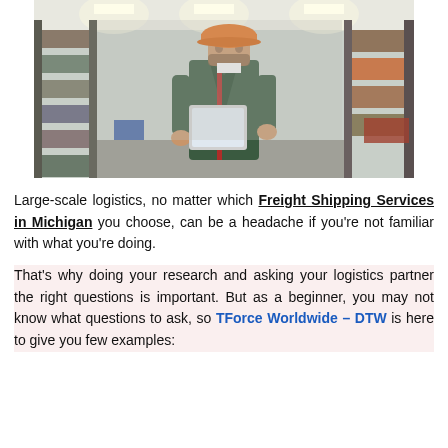[Figure (photo): A warehouse worker wearing an orange hard hat and dark green jacket, holding a tablet, standing in an industrial warehouse with shelving racks]
Large-scale logistics, no matter which Freight Shipping Services in Michigan you choose, can be a headache if you're not familiar with what you're doing.
That's why doing your research and asking your logistics partner the right questions is important. But as a beginner, you may not know what questions to ask, so TForce Worldwide – DTW is here to give you few examples: